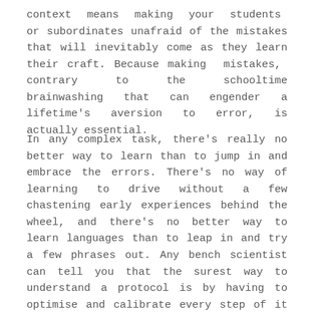context means making your students or subordinates unafraid of the mistakes that will inevitably come as they learn their craft. Because making mistakes, contrary to the schooltime brainwashing that can engender a lifetime's aversion to error, is actually essential.
In any complex task, there's really no better way to learn than to jump in and embrace the errors. There's no way of learning to drive without a few chastening early experiences behind the wheel, and there's no better way to learn languages than to leap in and try a few phrases out. Any bench scientist can tell you that the surest way to understand a protocol is by having to optimise and calibrate every step of it yourself.